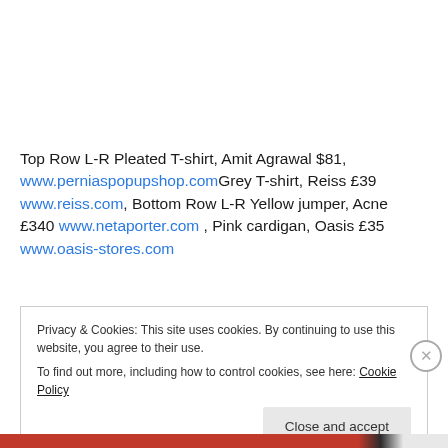Top Row L-R Pleated T-shirt, Amit Agrawal $81, www.perniaspopupshop.com Grey T-shirt, Reiss £39 www.reiss.com, Bottom Row L-R Yellow jumper, Acne £340 www.netaporter.com , Pink cardigan, Oasis £35 www.oasis-stores.com
Privacy & Cookies: This site uses cookies. By continuing to use this website, you agree to their use. To find out more, including how to control cookies, see here: Cookie Policy
Close and accept